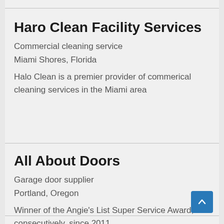Haro Clean Facility Services
Commercial cleaning service
Miami Shores, Florida
Halo Clean is a premier provider of commerical cleaning services in the Miami area
All About Doors
Garage door supplier
Portland, Oregon
Winner of the Angie's List Super Service Award, consecutively, since 2011